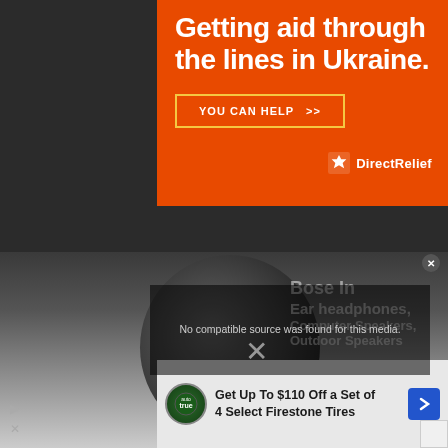[Figure (screenshot): Orange Direct Relief advertisement banner for Ukraine aid with headline 'Getting aid through the lines in Ukraine.' and a 'YOU CAN HELP >>' button, with Direct Relief logo at bottom right]
[Figure (screenshot): Video player area showing a Bose headphones advertisement with text 'No compatible source was found for this media.' overlaid, with partially visible text: Bose In Ear headphones, Computer Speakers, Outdoor Speakers]
[Figure (screenshot): Bottom advertisement banner: 'Get Up To $110 Off a Set of 4 Select Firestone Tires' with Firestone logo and navigation arrow]